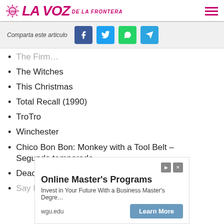LA VOZ DE LA FRONTERA
Comparta este articulo
The Firm…
The Witches
This Christmas
Total Recall (1990)
TroTro
Winchester
Chico Bon Bon: Monkey with a Tool Belt – Segunda temporada
Deadwind – Segunda temporada
Say I Do
[Figure (screenshot): Advertisement for Online Master's Programs from wgu.edu with a Learn More button]